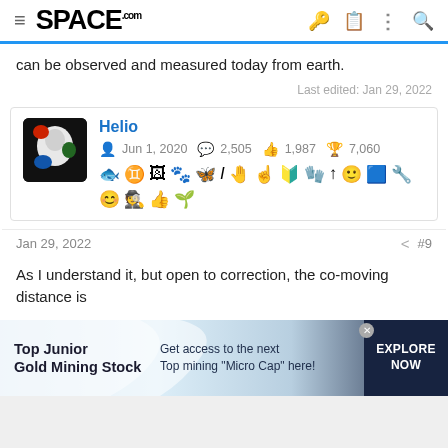SPACE.com
can be observed and measured today from earth.
Last edited: Jan 29, 2022
Helio
Jun 1, 2020  2,505  1,987  7,060
Jan 29, 2022  #9
As I understand it, but open to correction, the co-moving distance is
[Figure (screenshot): Advertisement banner: Top Junior Gold Mining Stock - Get access to the next Top mining "Micro Cap" here! EXPLORE NOW]